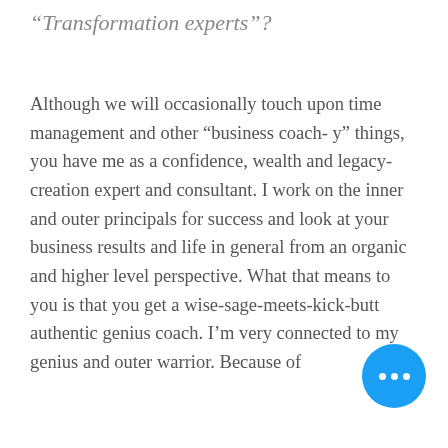“Transformation experts”?
Although we will occasionally touch upon time management and other “business coach-y” things, you have me as a confidence, wealth and legacy-creation expert and consultant. I work on the inner and outer principals for success and look at your business results and life in general from an organic and higher level perspective. What that means to you is that you get a wise-sage-meets-kick-butt authentic genius coach. I’m very connected to my genius and outer warrior. Because of